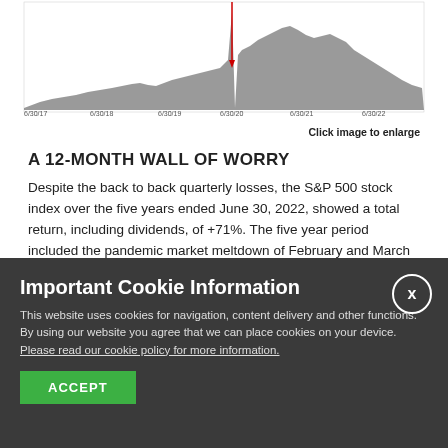[Figure (area-chart): Area chart showing S&P 500 stock index performance over five years from 6/30/17 to 6/30/22, with x-axis labels: 6/30/17, 6/30/18, 6/30/19, 6/30/20, 6/30/21, 6/30/22. A sharp red downward spike is visible around 6/30/20 indicating the pandemic market drop. The area is filled in gray.]
Click image to enlarge
A 12-MONTH WALL OF WORRY
Despite the back to back quarterly losses, the S&P 500 stock index over the five years ended June 30, 2022, showed a total return, including dividends, of +71%. The five year period included the pandemic market meltdown of February and March 2020, when the stock market lost -34% of its value.
Important Cookie Information
This website uses cookies for navigation, content delivery and other functions. By using our website you agree that we can place cookies on your device. Please read our cookie policy for more information.
ACCEPT